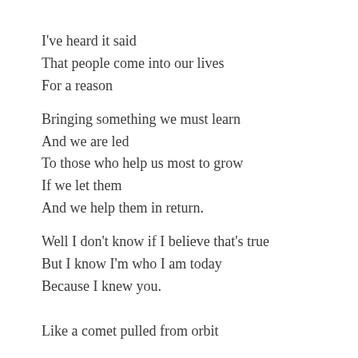I've heard it said
That people come into our lives
For a reason
Bringing something we must learn
And we are led
To those who help us most to grow
If we let them
And we help them in return.
Well I don't know if I believe that's true
But I know I'm who I am today
Because I knew you.

Like a comet pulled from orbit
As it passes a sun
Like a stream that meets a boulder
Half way through the wood…